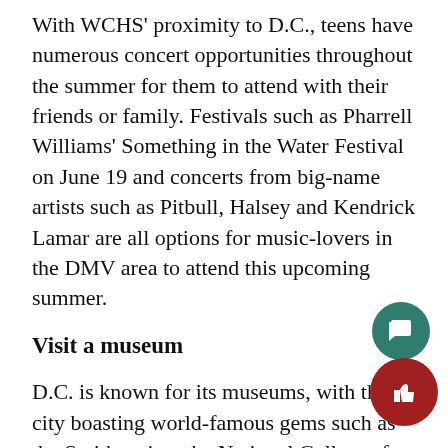With WCHS' proximity to D.C., teens have numerous concert opportunities throughout the summer for them to attend with their friends or family. Festivals such as Pharrell Williams' Something in the Water Festival on June 19 and concerts from big-name artists such as Pitbull, Halsey and Kendrick Lamar are all options for music-lovers in the DMV area to attend this upcoming summer.
Visit a museum
D.C. is known for its museums, with the city boasting world-famous gems such as the Smithsonian, the National Gallery of Art and the International Spy Museum. However, a closer option for WCHS students to visit is the Glenstone Museum in Potomac, MD, located off of Glen Road. Glenstone focuses on the integration of art,